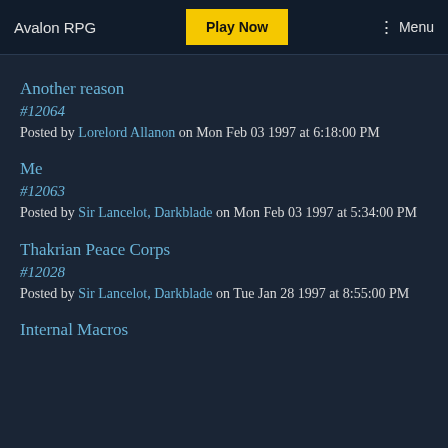Avalon RPG | Play Now | Menu
Another reason
#12064
Posted by Lorelord Allanon on Mon Feb 03 1997 at 6:18:00 PM
Me
#12063
Posted by Sir Lancelot, Darkblade on Mon Feb 03 1997 at 5:34:00 PM
Thakrian Peace Corps
#12028
Posted by Sir Lancelot, Darkblade on Tue Jan 28 1997 at 8:55:00 PM
Internal Macros